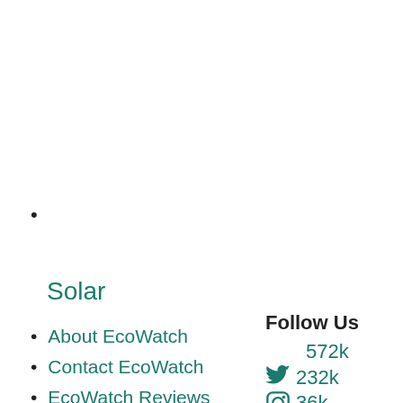•
Solar
• About EcoWatch
• Contact EcoWatch
• EcoWatch Reviews
• Terms of Use
Follow Us
572k
232k
36k